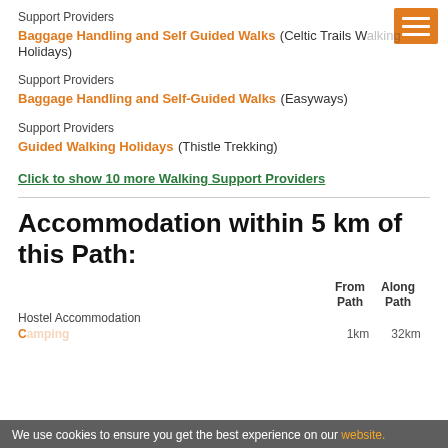Support Providers
Baggage Handling and Self Guided Walks (Celtic Trails Walking Holidays)
Support Providers
Baggage Handling and Self-Guided Walks (Easyways)
Support Providers
Guided Walking Holidays (Thistle Trekking)
Click to show 10 more Walking Support Providers
Accommodation within 5 km of this Path:
|  | From Path | Along Path |
| --- | --- | --- |
| Hostel Accommodation |  |  |
We use cookies to ensure you get the best experience on our website.